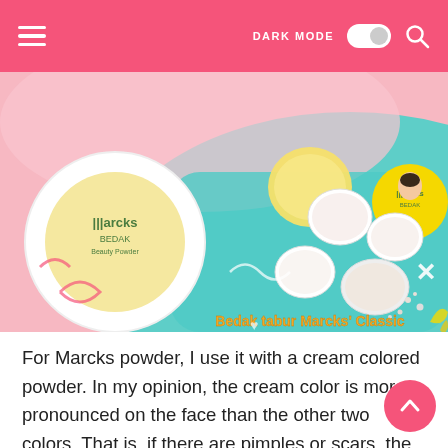DARK MODE [toggle] [search]
[Figure (photo): Product advertisement image for Marcks Bedak (face powder) showing yellow round powder compact and multiple small powder containers on a pastel pink and teal background with the text 'Bedak tabur Marcks Classic']
For Marcks powder, I use it with a cream colored powder. In my opinion, the cream color is more pronounced on the face than the other two colors. That is, if there are pimples or scars, the sensation of the powder is unique. You can find Marcks powder at the pharmacy or at the nearest market. For a price of just under 15 thousand, it is very safe and friendly in our pocket. Can be used many times. This powder parade is widely used by us as a powder for foundation only. It is true that Marcks powder is able to treat acne, but many don't know that this